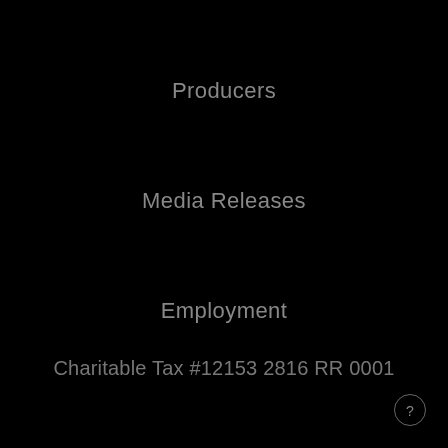Producers
Media Releases
Employment
Charitable Tax #12153 2816 RR 0001